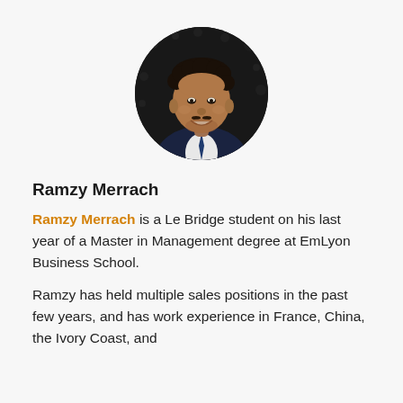[Figure (photo): Circular portrait photo of Ramzy Merrach, a young man in a dark suit and tie, smiling, against a dark background with bokeh dots.]
Ramzy Merrach
Ramzy Merrach is a Le Bridge student on his last year of a Master in Management degree at EmLyon Business School.
Ramzy has held multiple sales positions in the past few years, and has work experience in France, China, the Ivory Coast, and